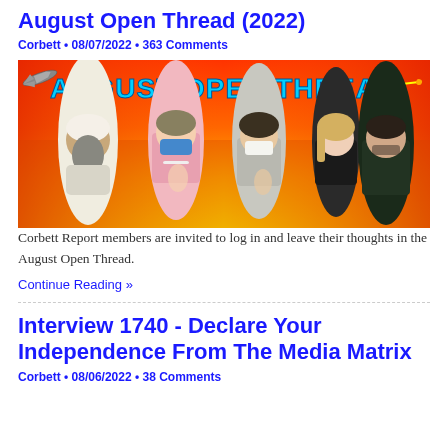August Open Thread (2022)
Corbett • 08/07/2022 • 363 Comments
[Figure (photo): August Open Thread banner image with text 'AUGUST OPEN THREAD' over a red/orange gradient background, showing several public figures standing in a row including a man in white religious robes, a woman in pink blazer with blue mask, a woman in grey suit with white mask, a young blonde woman, and a man in dark jacket. Fighter jets are visible in the background.]
Corbett Report members are invited to log in and leave their thoughts in the August Open Thread.
Continue Reading »
Interview 1740 - Declare Your Independence From The Media Matrix
Corbett • 08/06/2022 • 38 Comments